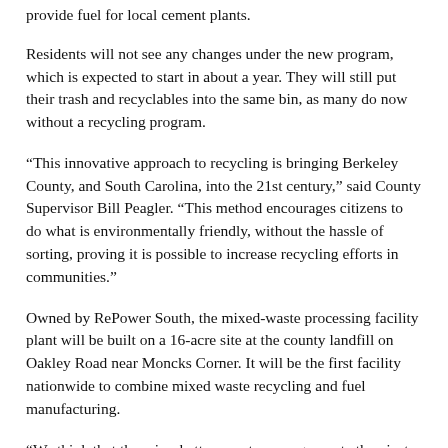provide fuel for local cement plants.
Residents will not see any changes under the new program, which is expected to start in about a year. They will still put their trash and recyclables into the same bin, as many do now without a recycling program.
“This innovative approach to recycling is bringing Berkeley County, and South Carolina, into the 21st century,” said County Supervisor Bill Peagler. “This method encourages citizens to do what is environmentally friendly, without the hassle of sorting, proving it is possible to increase recycling efforts in communities.”
Owned by RePower South, the mixed-waste processing facility plant will be built on a 16-acre site at the county landfill on Oakley Road near Moncks Corner. It will be the first facility nationwide to combine mixed waste recycling and fuel manufacturing.
“We think that there is a better way to manage waste than just